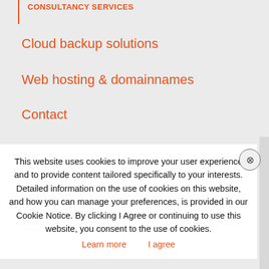CONSULTANCY SERVICES
Cloud backup solutions
Web hosting & domainnames
Contact
PO Box 950
Khysna 6570
South Africa
Monday - Friday (Office hours):
08:00...
This website uses cookies to improve your user experience and to provide content tailored specifically to your interests. Detailed information on the use of cookies on this website, and how you can manage your preferences, is provided in our Cookie Notice. By clicking I Agree or continuing to use this website, you consent to the use of cookies. Learn more  I agree